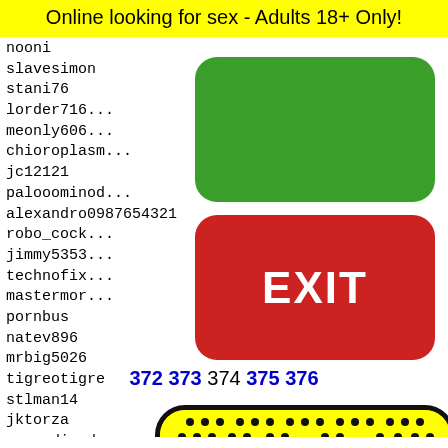Online looking for sex - Adults 18+ Only!
nooni
slavesimon
stani76
lorder716...
meonly606...
chioroplasm...
jc12121
palooominod...
alexandro0987654321
robo_cock...
jimmy5353...
technofix...
mastermor...
pornbus
natev896
mrbig5026
tigreotigre
stlman14
jktorza
superdinod
vip332
superh...
whisky...
purewa...
innovi...
nemsis
[Figure (other): Green button (no label) and red EXIT button overlaid on userlist]
372 373 374 375 376
[Figure (illustration): Yellow rounded rectangle with black dots pattern (padel paddle style) at bottom of page]